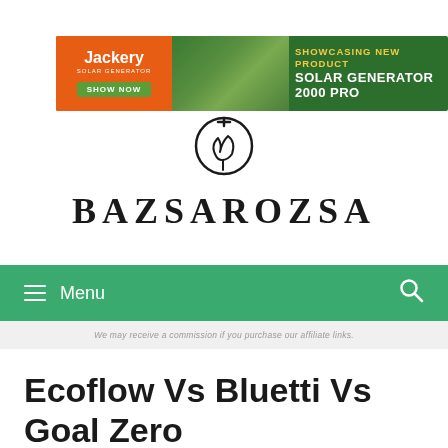[Figure (illustration): Jackery Solar Generator 2000 Pro advertisement banner with orange left panel showing Jackery logo and SHOW NOW button, green center panel with solar panels image, and dark right panel with yellow SHOWCASING NEW PRODUCT text and white SOLAR GENERATOR 2000 PRO text]
[Figure (logo): Bazsarozsa website logo: circular icon with plant/leaf and electrical plug symbol above bold serif text BAZSAROZSA with wide letter-spacing]
≡ Menu
We may receive a commission if you purchase our affiliate links.
Ecoflow Vs Bluetti Vs Goal Zero